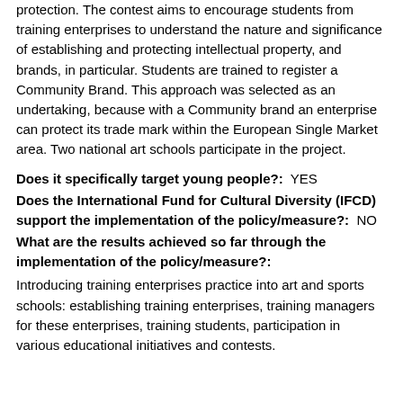protection. The contest aims to encourage students from training enterprises to understand the nature and significance of establishing and protecting intellectual property, and brands, in particular. Students are trained to register a Community Brand. This approach was selected as an undertaking, because with a Community brand an enterprise can protect its trade mark within the European Single Market area. Two national art schools participate in the project.
Does it specifically target young people?: YES
Does the International Fund for Cultural Diversity (IFCD) support the implementation of the policy/measure?: NO
What are the results achieved so far through the implementation of the policy/measure?:
Introducing training enterprises practice into art and sports schools: establishing training enterprises, training managers for these enterprises, training students, participation in various educational initiatives and contests.